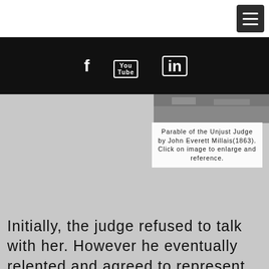[Figure (screenshot): Hamburger menu button (three horizontal lines) in dark gray rounded square, top-right corner]
[Figure (screenshot): Black social media bar with Facebook (f), YouTube (You/Tube icon), and LinkedIn (in) icons in white]
[Figure (photo): Partial image at top — appears to be Parable of the Unjust Judge by John Everett Millais (1863), showing a tree and figures]
Parable of the Unjust Judge by John Everett Millais(1863). Click on image to enlarge and reference.
Initially, the judge refused to talk with her. However he eventually relented and agreed to represent her, claiming petulantly that the woman would wear him out by her persistence, or even assault him. I guess back then they didn't have restraining orders that the judge himself could have issued against the